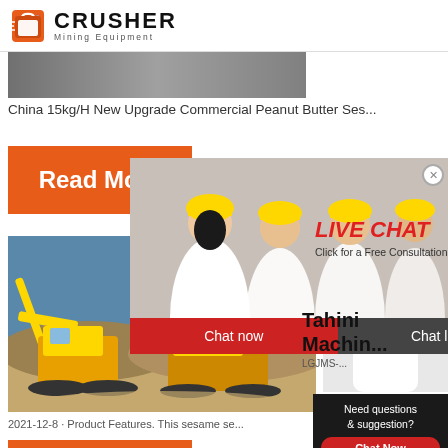CRUSHER Mining Equipment
[Figure (photo): Product image strip - commercial food equipment]
China 15kg/H New Upgrade Commercial Peanut Butter Ses...
[Figure (other): Orange Read More button]
[Figure (photo): Mining equipment / crusher machinery at work site]
[Figure (other): Live Chat overlay with workers photo and chat options: LIVE CHAT, Click for a Free Consultation, Chat now, Chat later]
[Figure (other): 24Hrs Online red banner]
[Figure (photo): Customer service representative with headset]
Tahini Machin... LGJMS-...
2021-12-8 · Product Features. This sesame se...
[Figure (other): Need questions & suggestion? Chat Now button panel]
Enquiry
limingjlmofen@sina.com
[Figure (other): Orange Read More button (second)]